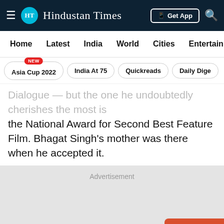Hindustan Times
Home  Latest  India  World  Cities  Entertainment
Asia Cup 2022  India At 75  Quickreads  Daily Digest
Dialogue — but the one he undoubtedly cherishes the most is the National Award for Second Best Feature Film. Bhagat Singh's mother was there when he accepted it.
[Figure (other): Advertisement placeholder block with grey background and OPEN APP button]